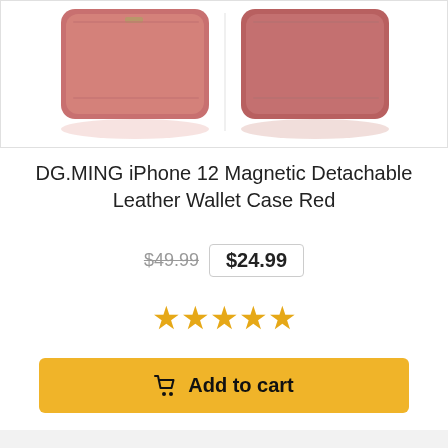[Figure (photo): Product photo of DG.MING iPhone 12 Magnetic Detachable Leather Wallet Case in Red, showing front and back views of the reddish-pink leather case with reflections on white background.]
DG.MING iPhone 12 Magnetic Detachable Leather Wallet Case Red
$49.99  $24.99
[Figure (other): Five orange/yellow star rating icons]
Add to cart
About
About Us
Contact Us
Return Policy